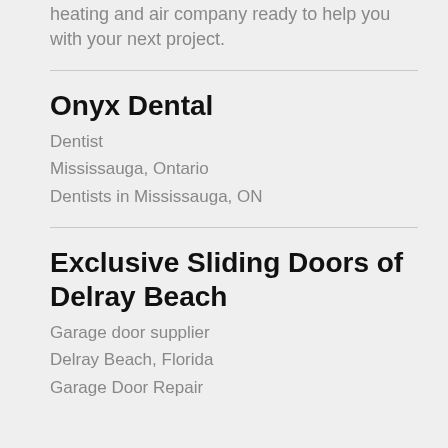heating and air company ready to help you with your next project.
Onyx Dental
Dentist
Mississauga, Ontario
Dentists in Mississauga, ON
Exclusive Sliding Doors of Delray Beach
Garage door supplier
Delray Beach, Florida
Garage Door Repair